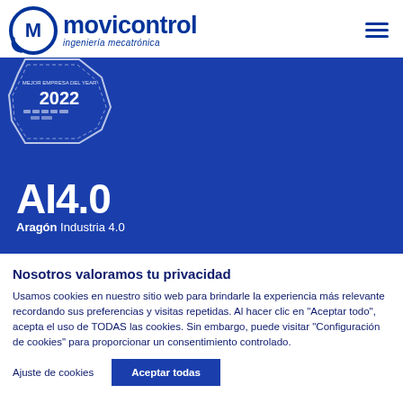movicontrol – ingeniería mecatrónica
[Figure (logo): Movicontrol logo with circular CM emblem and brand name 'movicontrol ingeniería mecatrónica' in dark blue]
[Figure (infographic): Blue hero banner showing AI4.0 Aragón Industria 4.0 badge and a 2022 certification seal in the upper left]
Nosotros valoramos tu privacidad
Usamos cookies en nuestro sitio web para brindarle la experiencia más relevante recordando sus preferencias y visitas repetidas. Al hacer clic en "Aceptar todo", acepta el uso de TODAS las cookies. Sin embargo, puede visitar "Configuración de cookies" para proporcionar un consentimiento controlado.
Ajuste de cookies | Aceptar todas